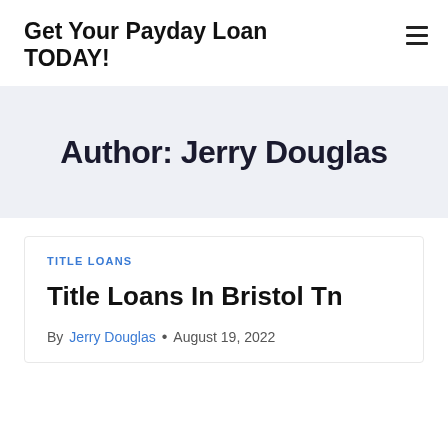Get Your Payday Loan TODAY!
Author: Jerry Douglas
TITLE LOANS
Title Loans In Bristol Tn
By Jerry Douglas • August 19, 2022